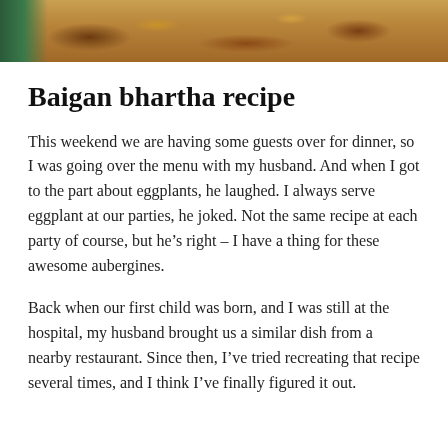[Figure (photo): Close-up photo of baigan bhartha dish, showing a brownish-orange cooked eggplant preparation, with green garnish visible at the left edge.]
Baigan bhartha recipe
This weekend we are having some guests over for dinner, so I was going over the menu with my husband. And when I got to the part about eggplants, he laughed. I always serve eggplant at our parties, he joked. Not the same recipe at each party of course, but he’s right – I have a thing for these awesome aubergines.
Back when our first child was born, and I was still at the hospital, my husband brought us a similar dish from a nearby restaurant. Since then, I’ve tried recreating that recipe several times, and I think I’ve finally figured it out.